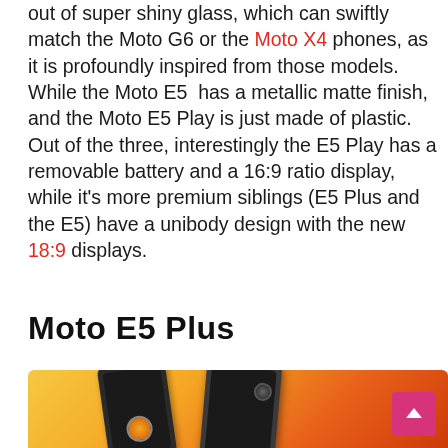out of super shiny glass, which can swiftly match the Moto G6 or the Moto X4 phones, as it is profoundly inspired from those models. While the Moto E5 has a metallic matte finish, and the Moto E5 Play is just made of plastic. Out of the three, interestingly the E5 Play has a removable battery and a 16:9 ratio display, while it's more premium siblings (E5 Plus and the E5) have a unibody design with the new 18:9 displays.
Moto E5 Plus
[Figure (photo): Orange gradient background with two Motorola phones (Moto E5 Plus models), one dark handset on the left tilted left and one dark handset on the right tilted right, with a pink/magenta scroll-to-top button in the bottom right corner.]